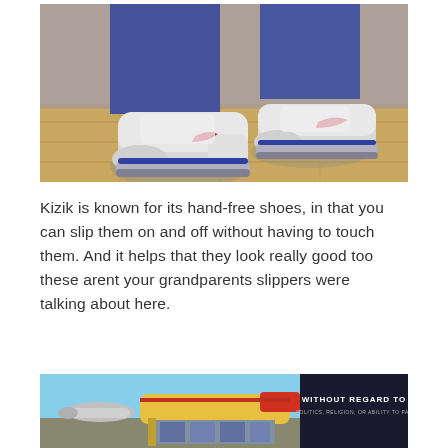[Figure (photo): Close-up photo of someone's feet wearing white Nike sneakers with red swoosh logo and blue scrub pants, standing on a wooden floor]
Kizik is known for its hand-free shoes, in that you can slip them on and off without having to touch them. And it helps that they look really good too these arent your grandparents slippers were talking about here.
[Figure (photo): Advertisement banner showing cargo planes being loaded, with a dark overlay panel on the right reading WITHOUT REGARD TO POLITICS, RELIGION, OR ABILITY TO PAY]